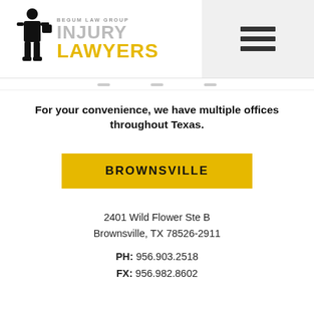[Figure (logo): Begum Law Group Injury Lawyers logo: silhouette of a person in a suit holding a briefcase, with text 'BEGUM LAW GROUP' above 'INJURY LAWYERS' in grey and yellow]
For your convenience, we have multiple offices throughout Texas.
BROWNSVILLE
2401 Wild Flower Ste B
Brownsville, TX 78526-2911
PH: 956.903.2518
FX: 956.982.8602